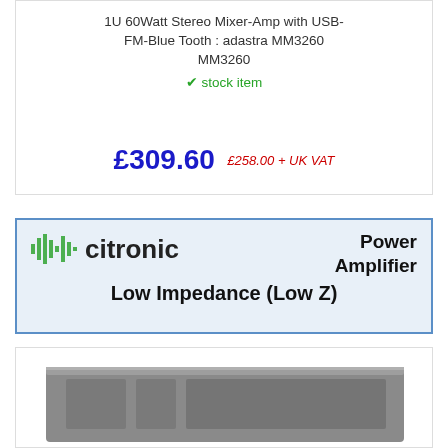1U 60Watt Stereo Mixer-Amp with USB-FM-Blue Tooth : adastra MM3260 MM3260
✓ stock item
£309.60  £258.00 + UK VAT
[Figure (logo): Citronic brand logo with audio waveform bars icon followed by 'citronic' text, and to the right: 'Power Amplifier Low Impedance (Low Z)' text on light blue background with blue border]
[Figure (photo): Partial view of a rack-mount power amplifier unit (grey/silver), bottom portion visible]